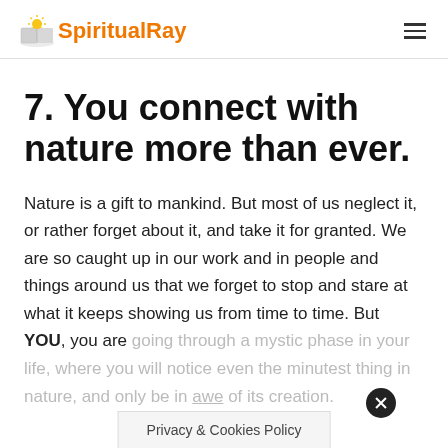SpiritualRay
7. You connect with nature more than ever.
Nature is a gift to mankind. But most of us neglect it, or rather forget about it, and take it for granted. We are so caught up in our work and in people and things around us that we forget to stop and stare at what it keeps showing us from time to time. But YOU, you are going through a mystic phase in your life, where you will notice even the minutest thing in nature, and only be in awe of its creation.
Privacy & Cookies Policy